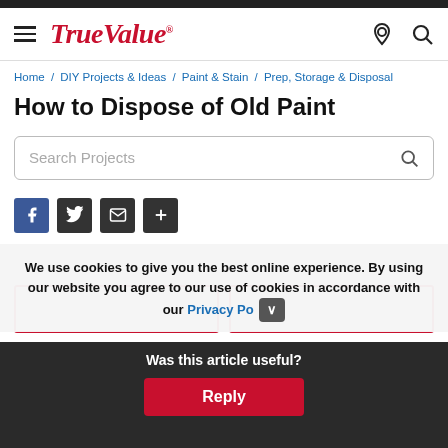True Value — Navigation header with hamburger menu, True Value logo, location icon, and search icon
Home / DIY Projects & Ideas / Paint & Stain / Prep, Storage & Disposal
How to Dispose of Old Paint
Search Projects
[Figure (other): Social share icons: Facebook, Twitter, Email, Add/Plus buttons]
We use cookies to give you the best online experience. By using our website you agree to our use of cookies in accordance with our Privacy Po[licy]
Was this article useful?
Reply